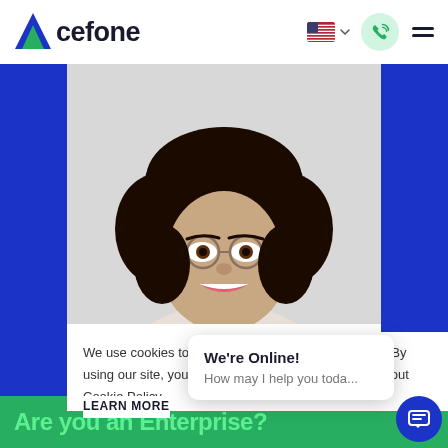Acefone
[Figure (photo): Woman with curly hair and glasses smiling, white background, from shoulders up]
We use cookies to provide and improve our services. By using our site, you consent to cookies. Know more about Cookie Policy
LEARN MORE
We're Online! How may I help you toda...
Are you an Enterprise?